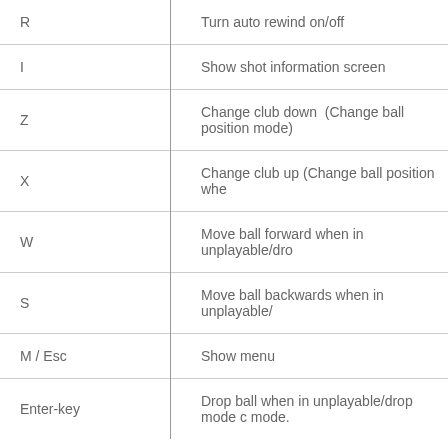| Key | Description |
| --- | --- |
| R | Turn auto rewind on/off |
| I | Show shot information screen |
| Z | Change club down  (Change ball position mode) |
| X | Change club up (Change ball position whe... |
| W | Move ball forward when in unplayable/dro... |
| S | Move ball backwards when in unplayable/... |
| M / Esc | Show menu |
| Enter-key | Drop ball when in unplayable/drop mode c... mode. |